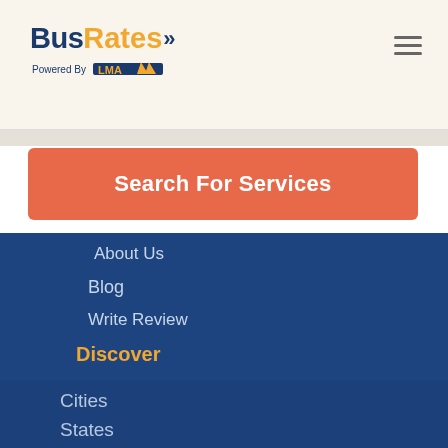BusRates >> Powered By LMA
Search For Services
About Us
Blog
Write Review
Discover
Cities
States
Bus Types
Licensing & Insurance
Group Travel Planner